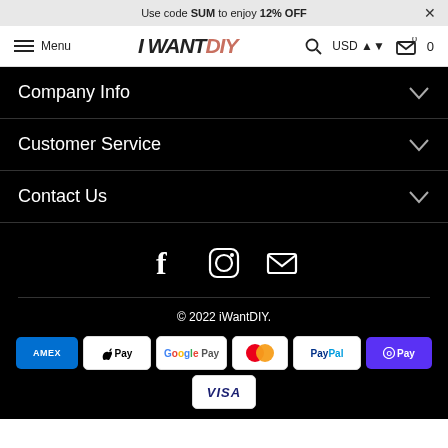Use code SUM to enjoy 12% OFF
Menu | I WANT DIY | USD | 0
Company Info
Customer Service
Contact Us
[Figure (illustration): Social media icons: Facebook, Instagram, Email]
© 2022 iWantDIY.
[Figure (illustration): Payment method badges: AMEX, Apple Pay, Google Pay, Mastercard, PayPal, Shop Pay, Visa]